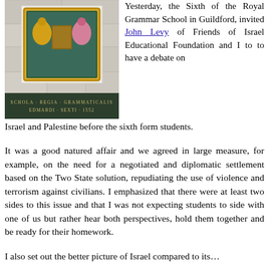[Figure (photo): Photograph of the entrance facade of the Royal Grammar School in Guildford, showing a stone wall with a carved heraldic crest featuring a golden lion and pink lion flanking a shield, surrounded by an ornate golden frame. Below the crest is a dark plaque reading 'SCHOLA REGIA GRAMMATICALIS EDMARDI SEXTI 1552'.]
Yesterday, the Sixth of the Royal Grammar School in Guildford, invited John Levy of Friends of Israel Educational Foundation and I to to have a debate on Israel and Palestine before the sixth form students.
It was a good natured affair and we agreed in large measure, for example, on the need for a negotiated and diplomatic settlement based on the Two State solution, repudiating the use of violence and terrorism against civilians. I emphasized that there were at least two sides to this issue and that I was not expecting students to side with one of us but rather hear both perspectives, hold them together and be ready for their homework.